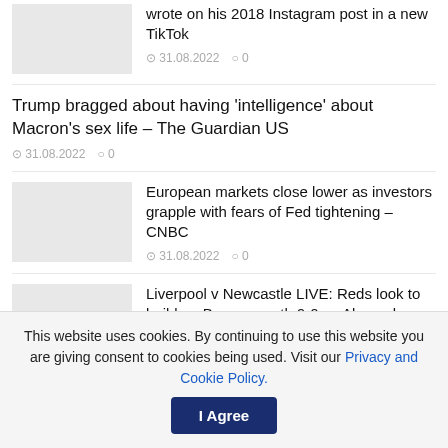wrote on his 2018 Instagram post in a new TikTok — 31.08.2022  0
Trump bragged about having 'intelligence' about Macron's sex life – The Guardian US — 31.08.2022  0
European markets close lower as investors grapple with fears of Fed tightening – CNBC — 31.08.2022  0
Liverpool v Newcastle LIVE: Reds look to build on Bournemouth 9-0 as Alexander Isak set to make debut but Allan Saint-Maximin is injured — 31.08.2022  0
This website uses cookies. By continuing to use this website you are giving consent to cookies being used. Visit our Privacy and Cookie Policy.